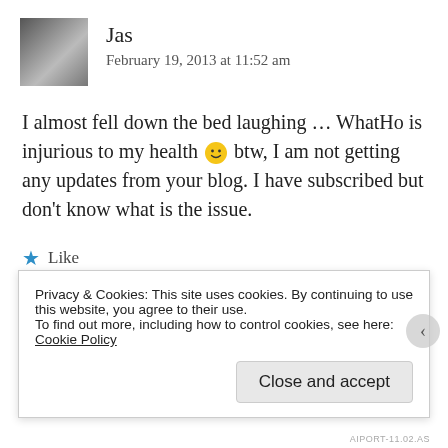[Figure (photo): Avatar photo of commenter Jas showing a person with dark tones]
Jas
February 19, 2013 at 11:52 am
I almost fell down the bed laughing … WhatHo is injurious to my health 😀 btw, I am not getting any updates from your blog. I have subscribed but don't know what is the issue.
★ Like
Reply ↓
Privacy & Cookies: This site uses cookies. By continuing to use this website, you agree to their use.
To find out more, including how to control cookies, see here: Cookie Policy
Close and accept